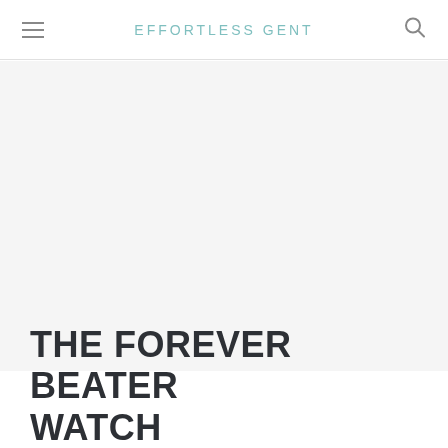EFFORTLESS GENT
[Figure (photo): Large hero image area (white/blank content area for article image)]
THE FOREVER BEATER WATCH